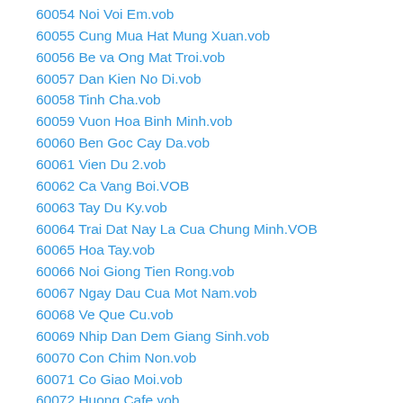60054 Noi Voi Em.vob
60055 Cung Mua Hat Mung Xuan.vob
60056 Be va Ong Mat Troi.vob
60057 Dan Kien No Di.vob
60058 Tinh Cha.vob
60059 Vuon Hoa Binh Minh.vob
60060 Ben Goc Cay Da.vob
60061 Vien Du 2.vob
60062 Ca Vang Boi.VOB
60063 Tay Du Ky.vob
60064 Trai Dat Nay La Cua Chung Minh.VOB
60065 Hoa Tay.vob
60066 Noi Giong Tien Rong.vob
60067 Ngay Dau Cua Mot Nam.vob
60068 Ve Que Cu.vob
60069 Nhip Dan Dem Giang Sinh.vob
60070 Con Chim Non.vob
60071 Co Giao Moi.vob
60072 Huong Cafe.vob
60073 Loi Cha.vob
60074 Mua Thu Da Toi.vob
60075 Tia Ma Em.vob
60076 Ngay Chu Nhat.vob